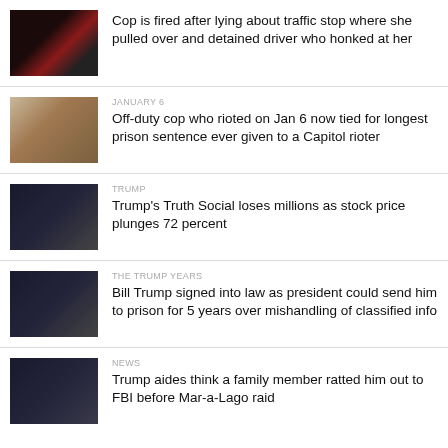Cop is fired after lying about traffic stop where she pulled over and detained driver who honked at her
JANUARY 6 — Off-duty cop who rioted on Jan 6 now tied for longest prison sentence ever given to a Capitol rioter
TRUMP — Trump's Truth Social loses millions as stock price plunges 72 percent
THE TRUMP YEARS — Bill Trump signed into law as president could send him to prison for 5 years over mishandling of classified info
NEWS — Trump aides think a family member ratted him out to FBI before Mar-a-Lago raid